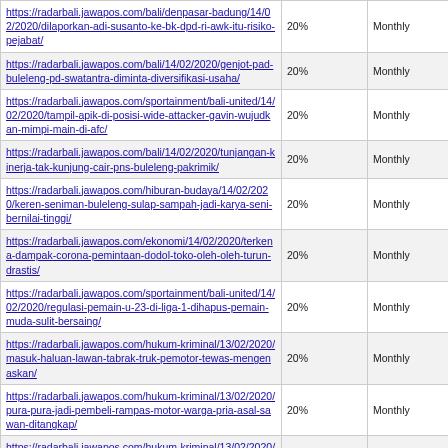| URL | Percentage | Frequency |
| --- | --- | --- |
| https://radarbali.jawapos.com/bali/denpasar-badung/14/02/2020/dilaporkan-adi-susanto-ke-bk-dpd-ri-awk-itu-risiko-pejabat/ | 20% | Monthly |
| https://radarbali.jawapos.com/bali/14/02/2020/genjot-pad-buleleng-pd-swatantra-diminta-diversifikasi-usaha/ | 20% | Monthly |
| https://radarbali.jawapos.com/sportainment/bali-united/14/02/2020/tampil-apik-di-posisi-wide-attacker-gavin-wujudkan-mimpi-main-di-afc/ | 20% | Monthly |
| https://radarbali.jawapos.com/bali/14/02/2020/tunjangan-kinerja-tak-kunjung-cair-pns-buleleng-pakrimik/ | 20% | Monthly |
| https://radarbali.jawapos.com/hiburan-budaya/14/02/2020/keren-seniman-buleleng-sulap-sampah-jadi-karya-seni-bernilai-tinggi/ | 20% | Monthly |
| https://radarbali.jawapos.com/ekonomi/14/02/2020/terkena-dampak-corona-pemintaan-dodol-toko-oleh-oleh-turun-drastis/ | 20% | Monthly |
| https://radarbali.jawapos.com/sportainment/bali-united/14/02/2020/regulasi-pemain-u-23-di-liga-1-dihapus-pemain-muda-sulit-bersaing/ | 20% | Monthly |
| https://radarbali.jawapos.com/hukum-kriminal/13/02/2020/masuk-haluan-lawan-tabrak-truk-pemotor-tewas-mengenaskan/ | 20% | Monthly |
| https://radarbali.jawapos.com/hukum-kriminal/13/02/2020/pura-pura-jadi-pembeli-rampas-motor-warga-pria-asal-sawan-ditangkap/ | 20% | Monthly |
| https://radarbali.jawapos.com/hukum-kriminal/13/02/2020/ditangkap-pemakai-sabu-ngaku-dapat-suplai-dari-lapas-banyuwangi/ | 20% | Monthly |
| https://radarbali.jawapos.com/hukum-kriminal/13/02/2020/edan-pelaku-setubuhi-putrinya-disamping-anaknya-yang-masih-balita/ | 20% | Monthly |
| https://radarbali.jawapos.com/hiburan-budaya/13/02/2020/kajeng-kliwon-diputar-di-bioskop-berani-nonton-sendiri/ | 20% | Monthly |
| https://radarbali.jawapos.com/hukum-kriminal/13/02/2020/cek-keperawanan-jadi-dalih-pelaku-setubuhi-putri-kandungnya/ | 20% | Monthly |
| https://radarbali.jawapos.com/bali/13/02/2020/pemkab-badung-... | 20% | Monthly |